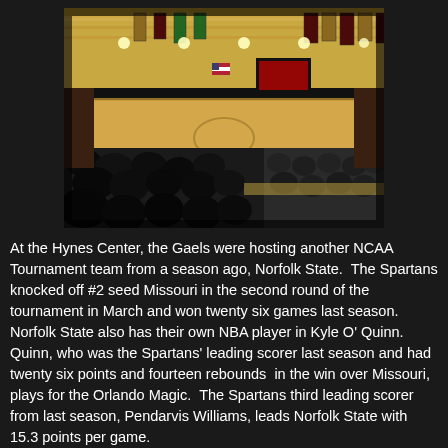[Figure (photo): Interior of the Hynes Center basketball arena showing a packed crowd in the foreground, the basketball court, and colorful championship banners hanging from the ceiling rafters. Maroon and gold color scheme.]
At the Hynes Center, the Gaels were hosting another NCAA Tournament team from a season ago, Norfolk State.  The Spartans knocked off #2 seed Missouri in the second round of the tournament in March and won twenty six games last season.  Norfolk State also has their own NBA player in Kyle O' Quinn.  Quinn, who was the Spartans' leading scorer last season and had twenty six points and fourteen rebounds  in the win over Missouri, plays for the Orlando Magic.  The Spartans third leading scorer from last season, Pendarvis Williams, leads Norfolk State with 15.3 points per game.